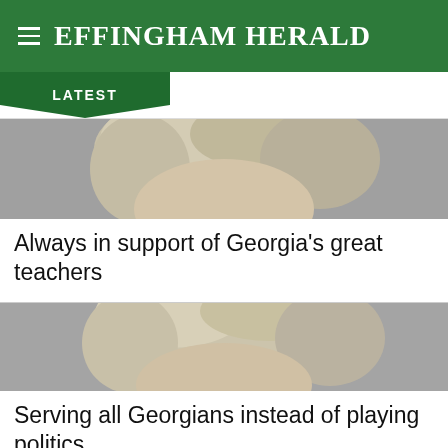Effingham Herald
LATEST
[Figure (photo): Photo of a blonde woman, close-up portrait, gray background]
Always in support of Georgia's great teachers
[Figure (photo): Photo of a blonde woman, close-up portrait, gray background]
Serving all Georgians instead of playing politics
[Figure (photo): Photo of a blonde woman, close-up portrait, gray background, partially visible]
C...